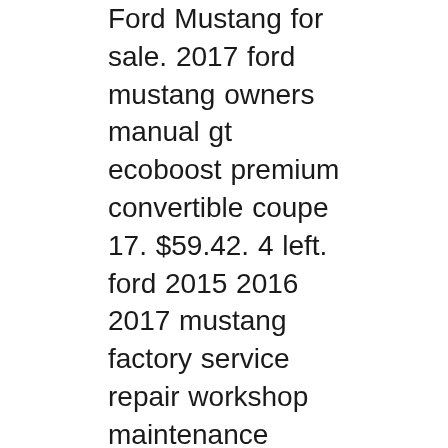Ford Mustang for sale. 2017 ford mustang owners manual gt ecoboost premium convertible coupe 17. $59.42. 4 left. ford 2015 2016 2017 mustang factory service repair workshop maintenance manual. $14.95. 7 left. nitrous oxide manual book nox how to install mcclurg tune racing systems. $21.95. 9 left. ford mustang gt 2015 2016 2017 5.0l v8 factory service repair workshop manual . $14.95. 10 left. ford mustang, REAL BOOK Owner's Manual Supplement for 2017 Shelby GT350 Mustang models We have over 70 other different Shelby Books & Manuals in our Seattle store that we are working on listing We have over 730 other different Mustang Books & Manuals in our Seattle